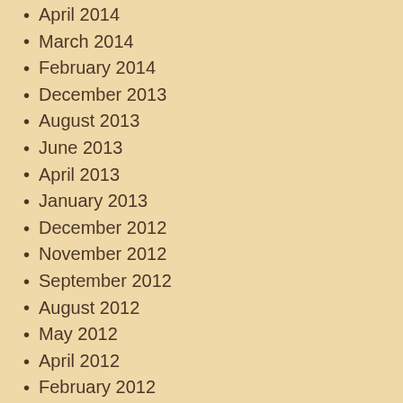April 2014
March 2014
February 2014
December 2013
August 2013
June 2013
April 2013
January 2013
December 2012
November 2012
September 2012
August 2012
May 2012
April 2012
February 2012
January 2012
December 2011
November 2011
October 2011
September 2011
August 2011
July 2011
Categories